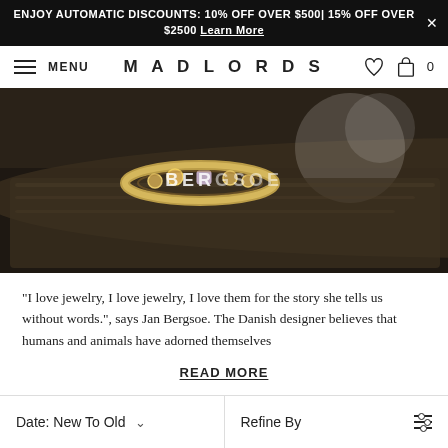ENJOY AUTOMATIC DISCOUNTS: 10% OFF OVER $500 | 15% OFF OVER $2500 Learn More
MENU MADLORDS 0
[Figure (photo): Close-up photo of a gold ring with gemstones sitting on a dark jewellery box, with text overlay 'BERGSOE']
"I love jewelry, I love jewelry, I love them for the story she tells us without words.", says Jan Bergsoe. The Danish designer believes that humans and animals have adorned themselves
READ MORE
Date: New To Old  Refine By